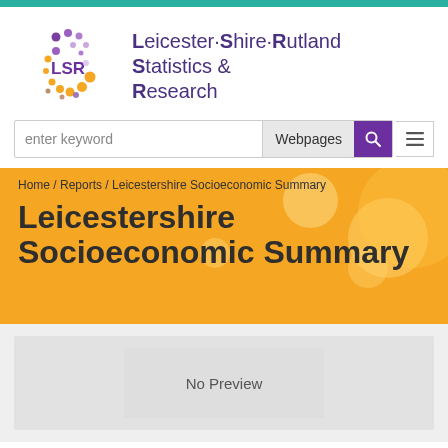[Figure (logo): LSR (Leicester Shire Rutland Statistics & Research) logo with coloured dot pattern]
Leicester·Shire·Rutland Statistics & Research
[Figure (screenshot): Search bar with 'enter keyword' placeholder, Webpages dropdown, search icon button, and hamburger menu button]
Home / Reports / Leicestershire Socioeconomic Summary
Leicestershire Socioeconomic Summary
[Figure (other): No Preview placeholder box]